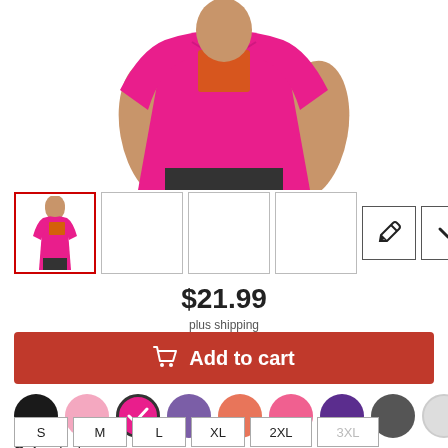[Figure (photo): Woman wearing a fuchsia/hot pink t-shirt with an orange graphic on the chest. The image is cropped to show the torso area.]
[Figure (screenshot): Product thumbnail gallery showing 4 image slots (first selected with red border showing the shirt front view, others empty/blank) plus two small icon buttons (pencil/edit and chevron/dropdown)]
$21.99
plus shipping
Add to cart
[Figure (infographic): Color swatch selector showing 9 color circles: black, pink, fuchsia (selected with checkmark), purple, coral/orange, hot pink, deep purple, dark grey, light grey]
Color: fuchsia
S  M  L  XL  2XL  3XL